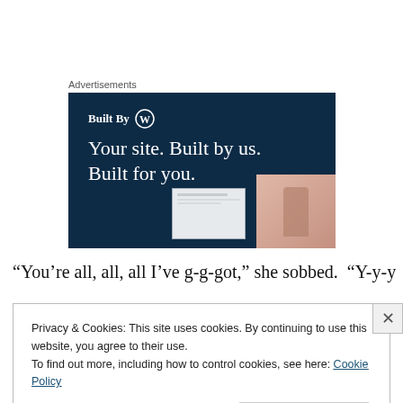Advertisements
[Figure (screenshot): WordPress advertisement banner: dark navy background with 'Built By WordPress logo' text and 'Your site. Built by us. Built for you.' headline, with a website mockup and a pink fashion photo in the bottom right.]
“You’re all, all, all I’ve g-g-got,” she sobbed.  “Y-y-you and
Privacy & Cookies: This site uses cookies. By continuing to use this website, you agree to their use.
To find out more, including how to control cookies, see here: Cookie Policy